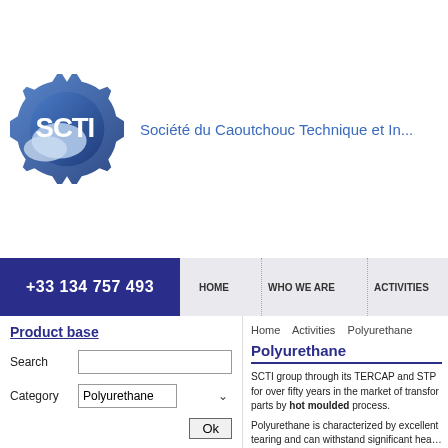[Figure (logo): SCTI gear logo in blue tones with 'SCTI' text in white]
Société du Caoutchouc Technique et In…
+33 134 757 493
HOME
WHO WE ARE
ACTIVITIES
Product base
Search
Category  Polyurethane
Ok
Home    Activities    Polyurethane
Polyurethane
SCTI group through its TERCAP and STP for over fifty years in the market of transfor parts by hot moulded process.
Polyurethane is characterized by excellent tearing and can withstand significant hea…